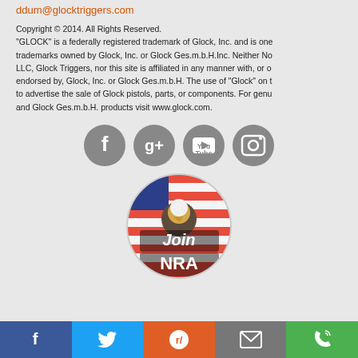ddum@glocktriggers.com
Copyright © 2014. All Rights Reserved. "GLOCK" is a federally registered trademark of Glock, Inc. and is one of trademarks owned by Glock, Inc. or Glock Ges.m.b.H.Inc. Neither No LLC, Glock Triggers, nor this site is affiliated in any manner with, or endorsed by, Glock, Inc. or Glock Ges.m.b.H. The use of "Glock" on this site is to advertise the sale of Glock pistols, parts, or components. For genuine Glock, Inc. and Glock Ges.m.b.H. products visit www.glock.com.
[Figure (infographic): Social media icons: Facebook, Google+, YouTube, Instagram — grey circles]
[Figure (illustration): Join NRA badge with bald eagle and American flag]
[Figure (infographic): Share bar with Facebook (blue), Twitter (blue), Reddit (orange), Email (grey), Phone (green) buttons]